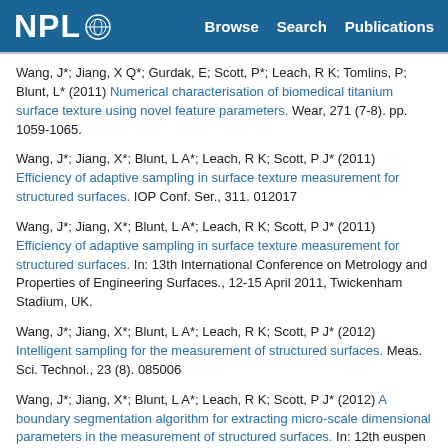NPL | Browse Search Publications
Wang, J*; Jiang, X Q*; Gurdak, E; Scott, P*; Leach, R K; Tomlins, P; Blunt, L* (2011) Numerical characterisation of biomedical titanium surface texture using novel feature parameters. Wear, 271 (7-8). pp. 1059-1065.
Wang, J*; Jiang, X*; Blunt, L A*; Leach, R K; Scott, P J* (2011) Efficiency of adaptive sampling in surface texture measurement for structured surfaces. IOP Conf. Ser., 311. 012017
Wang, J*; Jiang, X*; Blunt, L A*; Leach, R K; Scott, P J* (2011) Efficiency of adaptive sampling in surface texture measurement for structured surfaces. In: 13th International Conference on Metrology and Properties of Engineering Surfaces., 12-15 April 2011, Twickenham Stadium, UK.
Wang, J*; Jiang, X*; Blunt, L A*; Leach, R K; Scott, P J* (2012) Intelligent sampling for the measurement of structured surfaces. Meas. Sci. Technol., 23 (8). 085006
Wang, J*; Jiang, X*; Blunt, L A*; Leach, R K; Scott, P J* (2012) A boundary segmentation algorithm for extracting micro-scale dimensional parameters in the measurement of structured surfaces. In: 12th euspen International Conference, 4-8 June 2012, Stockholm, Sweden.